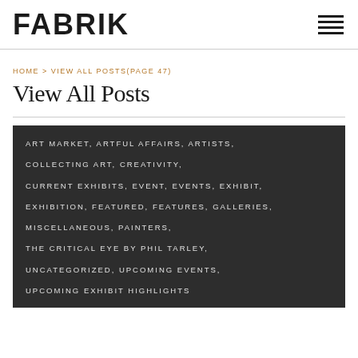FABRIK
HOME > VIEW ALL POSTS(PAGE 47)
View All Posts
ART MARKET, ARTFUL AFFAIRS, ARTISTS, COLLECTING ART, CREATIVITY, CURRENT EXHIBITS, EVENT, EVENTS, EXHIBIT, EXHIBITION, FEATURED, FEATURES, GALLERIES, MISCELLANEOUS, PAINTERS, THE CRITICAL EYE BY PHIL TARLEY, UNCATEGORIZED, UPCOMING EVENTS, UPCOMING EXHIBIT HIGHLIGHTS